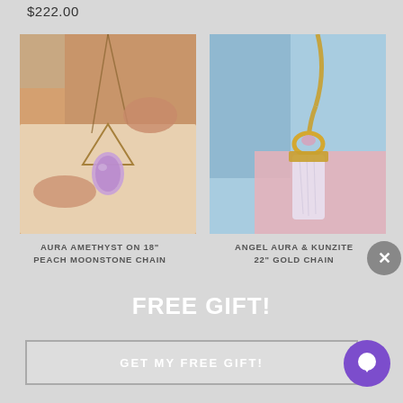$222.00
[Figure (photo): Close-up of a woman wearing an aura amethyst pendant necklace on a peach moonstone chain, with warm brown tones.]
[Figure (photo): Angel aura and kunzite crystal pendant on a 22-inch gold chain, photographed near water with a light blue background.]
AURA AMETHYST ON 18" PEACH MOONSTONE CHAIN
ANGEL AURA & KUNZITE 22" GOLD CHAIN
FREE GIFT!
GET MY FREE GIFT!